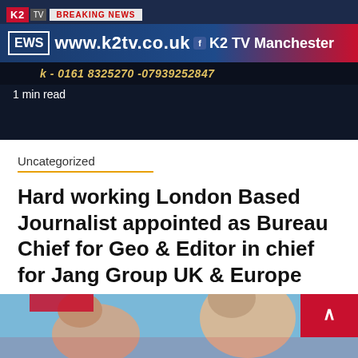[Figure (screenshot): K2 TV Breaking News banner with website www.k2tv.co.uk, K2 TV Manchester branding, phone numbers 0161 8325270 and 07939252847, and '1 min read' overlay]
Uncategorized
Hard working London Based Journalist appointed as Bureau Chief for Geo & Editor in chief for Jang Group UK & Europe
5 years ago   SYED KASHIF SAJJAD
"Syed Murtaza Ali Shah is very honest with his profession and he is a hard working journalist. I can say...
[Figure (photo): Partial photo of people at bottom of page with blue background]